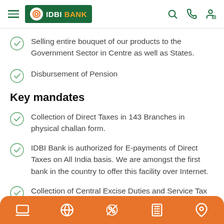IDBI BANK
Selling entire bouquet of our products to the Government Sector in Centre as well as States.
Disbursement of Pension
Key mandates
Collection of Direct Taxes in 143 Branches in physical challan form.
IDBI Bank is authorized for E-payments of Direct Taxes on All India basis. We are amongst the first bank in the country to offer this facility over Internet.
Collection of Central Excise Duties and Service Tax in physical challan form in Delhi, Mumbai, Chennai and